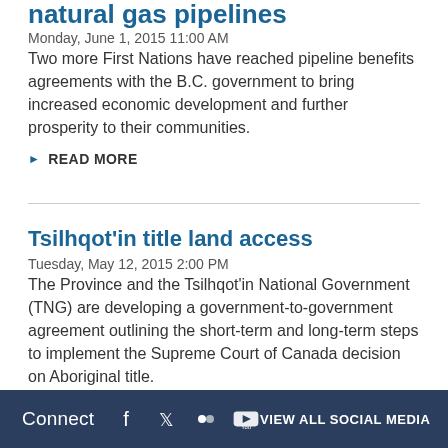natural gas pipelines
Monday, June 1, 2015 11:00 AM
Two more First Nations have reached pipeline benefits agreements with the B.C. government to bring increased economic development and further prosperity to their communities.
READ MORE
Tsilhqot'in title land access
Tuesday, May 12, 2015 2:00 PM
The Province and the Tsilhqot'in National Government (TNG) are developing a government-to-government agreement outlining the short-term and long-term steps to implement the Supreme Court of Canada decision on Aboriginal title.
READ MORE
Connect  VIEW ALL SOCIAL MEDIA